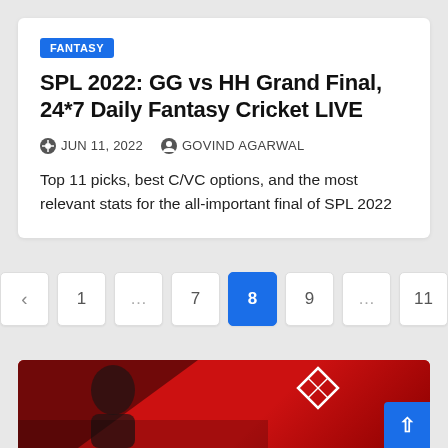FANTASY
SPL 2022: GG vs HH Grand Final, 24*7 Daily Fantasy Cricket LIVE
JUN 11, 2022   GOVIND AGARWAL
Top 11 picks, best C/VC options, and the most relevant stats for the all-important final of SPL 2022
< 1 ... 7 8 9 ... 11
[Figure (photo): Red background promotional image with a person and a logo/diamond shape]